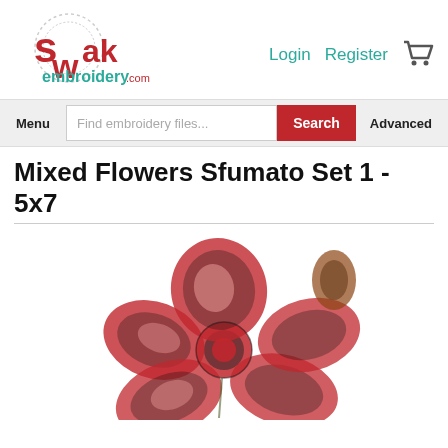[Figure (logo): SWAK Embroidery.com logo with dotted circle border and red/teal lettering]
Login   Register  🛒
Menu  |  Find embroidery files...  [Search]  Advanced
Mixed Flowers Sfumato Set 1 - 5x7
[Figure (photo): Embroidery design of mixed flowers in sfumato style, red and black thread on white, showing a large hibiscus-like flower]